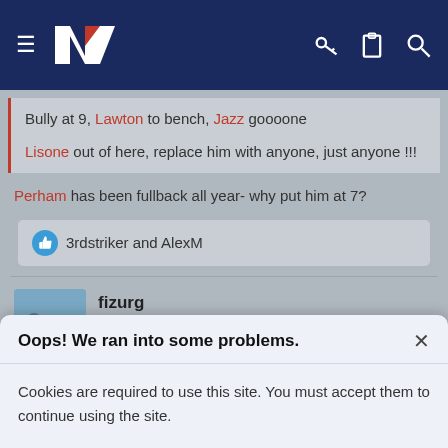[Figure (screenshot): Navigation bar with hamburger menu, NZ logo, key icon, clipboard icon, and search icon on dark navy background]
Bully at 9, Lawton to bench, Jazz goooone

Lisone out of here, replace him with anyone, just anyone !!!
Perham has been fullback all year- why put him at 7?
3rdstriker and AlexM
fizurg
[Figure (photo): User avatar photo showing a beach/coastal landscape scene]
Oops! We ran into some problems.
Cookies are required to use this site. You must accept them to continue using the site.